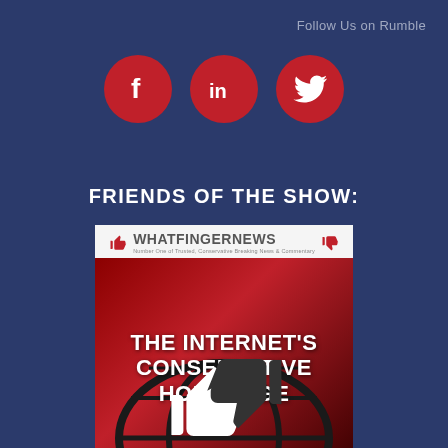Follow Us on Rumble
[Figure (illustration): Three red circular social media icons: Facebook (f), LinkedIn (in), Twitter (bird)]
FRIENDS OF THE SHOW:
[Figure (logo): WhatfingerNews advertisement banner: logo at top with thumbs up/down icons, text reading THE INTERNET'S CONSERVATIVE HOMEPAGE on dark red background with globe graphic]